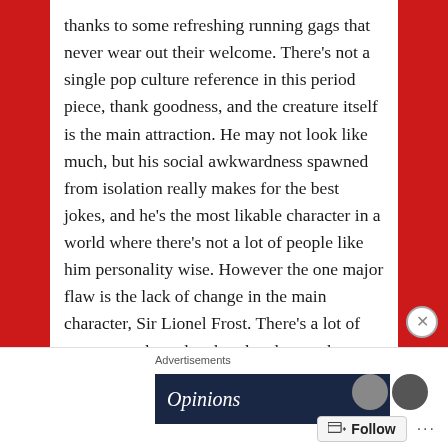thanks to some refreshing running gags that never wear out their welcome. There's not a single pop culture reference in this period piece, thank goodness, and the creature itself is the main attraction. He may not look like much, but his social awkwardness spawned from isolation really makes for the best jokes, and he's the most likable character in a world where there's not a lot of people like him personality wise. However the one major flaw is the lack of change in the main character, Sir Lionel Frost. There's a lot of moments where they bond and get to know each other, but it hardly amounts to him becoming a new person by his own actions once things wrap up. The villains are a bit of a waste as well, save the hired thug (Timothy Olyphant) who's always a sight to behold with the
Advertisements
[Figure (screenshot): Advertisement banner showing 'Opinions' text on dark navy background with circular avatar icons]
Follow ...